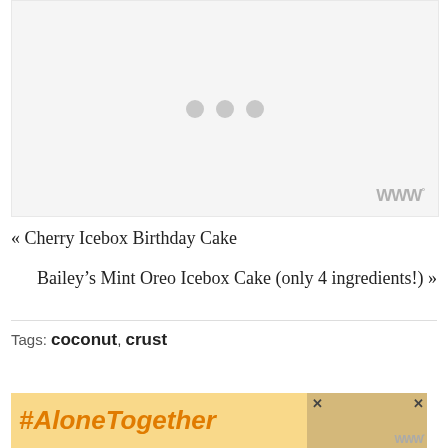[Figure (photo): Image placeholder with three gray loading dots centered on a light gray background, with a Wordable/WordPress watermark in the bottom right corner]
« Cherry Icebox Birthday Cake
Bailey's Mint Oreo Icebox Cake (only 4 ingredients!) »
Tags: coconut, crust
[Figure (photo): #AloneTogether advertisement banner with yellow/gold background showing the hashtag text and a photo of a woman in kitchen, with close X buttons and Wordable watermark]